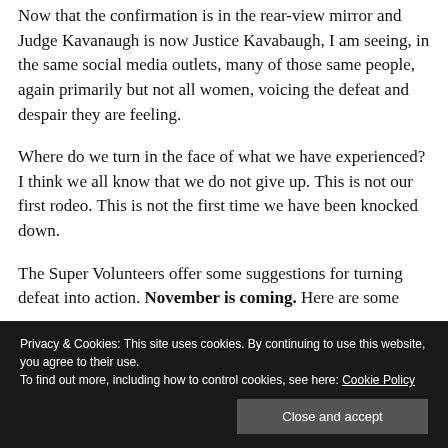Now that the confirmation is in the rear-view mirror and Judge Kavanaugh is now Justice Kavabaugh, I am seeing, in the same social media outlets, many of those same people, again primarily but not all women, voicing the defeat and despair they are feeling.
Where do we turn in the face of what we have experienced? I think we all know that we do not give up. This is not our first rodeo. This is not the first time we have been knocked down.
The Super Volunteers offer some suggestions for turning defeat into action. November is coming. Here are some
Privacy & Cookies: This site uses cookies. By continuing to use this website, you agree to their use.
To find out more, including how to control cookies, see here: Cookie Policy
Close and accept